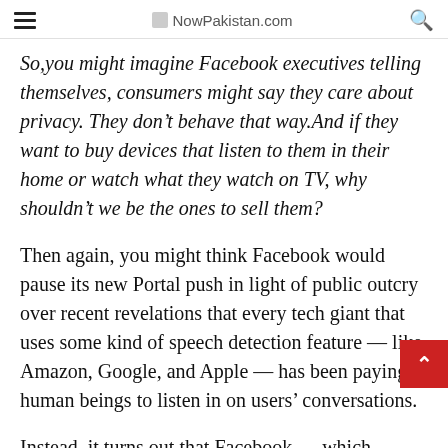NowPakistan.com
So,you might imagine Facebook executives telling themselves, consumers might say they care about privacy. They don't behave that way.And if they want to buy devices that listen to them in their home or watch what they watch on TV, why shouldn't we be the ones to sell them?
Then again, you might think Facebook would pause its new Portal push in light of public outcry over recent revelations that every tech giant that uses some kind of speech detection feature — like Amazon, Google, and Apple — has been paying human beings to listen in on users' conversations.
Instead, it turns out that Facebook — which, again, has to constantly tell reporters and regular humans that it isn't surreptitiously listening to their phone conversations — was